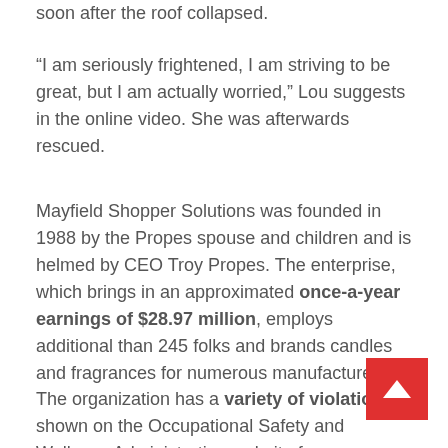soon after the roof collapsed.
“I am seriously frightened, I am striving to be great, but I am actually worried,” Lou suggests in the online video. She was afterwards rescued.
Mayfield Shopper Solutions was founded in 1988 by the Propes spouse and children and is helmed by CEO Troy Propes. The enterprise, which brings in an approximated once-a-year earnings of $28.97 million, employs additional than 245 folks and brands candles and fragrances for numerous manufacturers.
The organization has a variety of violations shown on the Occupational Safety and Wellness Administration website from a September 2019 inspection, like citations for absence of proper electrical protection devices and respiratory security. Mayfield also has a violation for absence of “protection for workers…